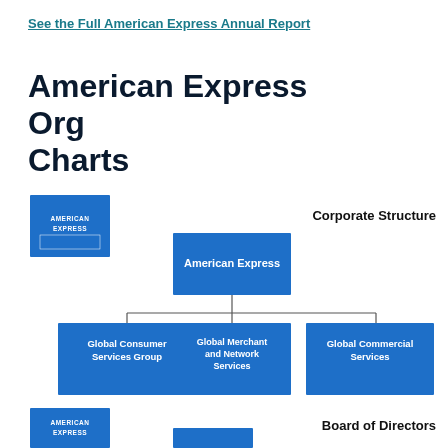See the Full American Express Annual Report
American Express Org Charts
[Figure (organizational-chart): Partial organizational chart showing Corporate Structure with American Express at the top, and three subsidiaries below: Global Consumer Services Group, Global Merchant and Network Services, and Global Commercial Services. American Express logo (blue square with white text) shown at top left.]
[Figure (organizational-chart): Start of Board of Directors org chart with American Express logo at bottom left and a partially visible box below it.]